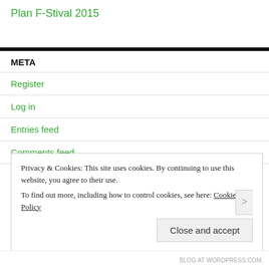Plan F-Stival 2015
META
Register
Log in
Entries feed
Comments feed
WordPress.com
Privacy & Cookies: This site uses cookies. By continuing to use this website, you agree to their use. To find out more, including how to control cookies, see here: Cookie Policy
Close and accept